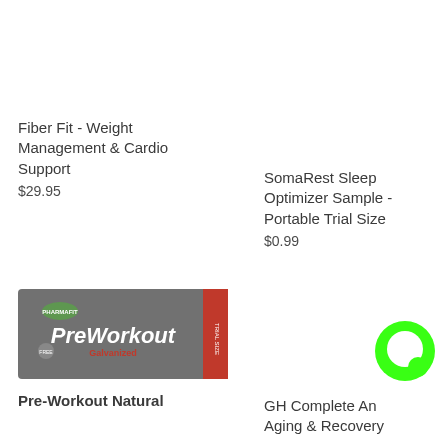Fiber Fit - Weight Management & Cardio Support
$29.95
SomaRest Sleep Optimizer Sample - Portable Trial Size
$0.99
[Figure (photo): PreWorkout Galvanized supplement bar packet in dark packaging with red trial size label]
Pre-Workout Natural
[Figure (logo): Green circular chat bubble logo icon]
GH Complete Anti Aging & Recovery